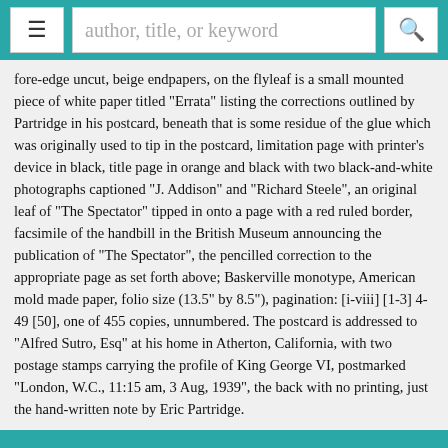≡  author, title, or keyword  🔍
fore-edge uncut, beige endpapers, on the flyleaf is a small mounted piece of white paper titled "Errata" listing the corrections outlined by Partridge in his postcard, beneath that is some residue of the glue which was originally used to tip in the postcard, limitation page with printer's device in black, title page in orange and black with two black-and-white photographs captioned "J. Addison" and "Richard Steele", an original leaf of "The Spectator" tipped in onto a page with a red ruled border, facsimile of the handbill in the British Museum announcing the publication of "The Spectator", the pencilled correction to the appropriate page as set forth above; Baskerville monotype, American mold made paper, folio size (13.5" by 8.5"), pagination: [i-viii] [1-3] 4-49 [50], one of 455 copies, unnumbered. The postcard is addressed to "Alfred Sutro, Esq" at his home in Atherton, California, with two postage stamps carrying the profile of King George VI, postmarked "London, W.C., 11:15 am, 3 Aug, 1939", the back with no printing, just the hand-written note by Eric Partridge.